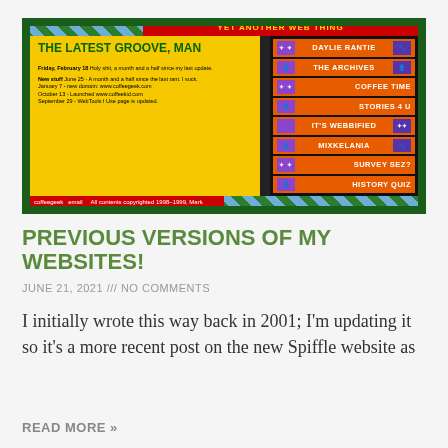[Figure (screenshot): Screenshot of an old 1990s-style website called 'Yet Another Web Thing' with yellow background content area showing blog entries dated February 18 and updates from June 25, January 7, October 13, September 29, and a right navigation panel with orange buttons: DAYLIE RANTIE, THE ARCHIVES, COFFEE TIME, STORIES 4 U, IT'S WEBBIFIED, MIXKELANIA, SURVEY SEZ?, HISTORY QUIZ. Green diagonal stripe borders on top and bottom. Red bar at top with yellow text.]
PREVIOUS VERSIONS OF MY WEBSITES!
JUNE 21, 2021 /// NO COMMENTS
I initially wrote this way back in 2001; I'm updating it so it's a more recent post on the new Spiffle website as
READ MORE »